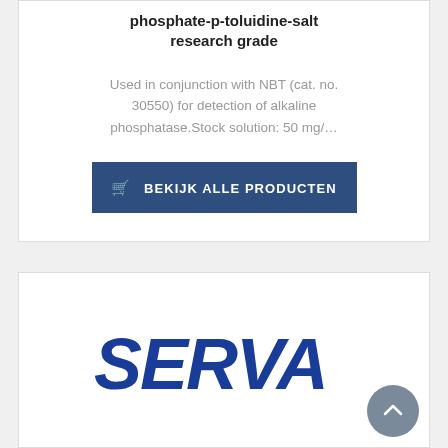phosphate-p-toluidine-salt research grade
Used in conjunction with NBT (cat. no. 30550) for detection of alkaline phosphatase.Stock solution: 50 mg/…
🛒 BEKIJK ALLE PRODUCTEN
[Figure (logo): SERVA company logo in bold blue serif font on white background]